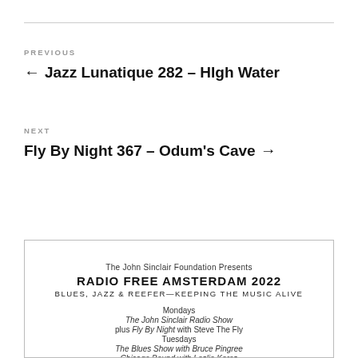PREVIOUS
← Jazz Lunatique 282 – HIgh Water
NEXT
Fly By Night 367 – Odum's Cave →
[Figure (infographic): Radio Free Amsterdam 2022 banner advertisement. Text: The John Sinclair Foundation Presents / RADIO FREE AMSTERDAM 2022 / BLUES, JAZZ & REEFER—KEEPING THE MUSIC ALIVE / Mondays / The John Sinclair Radio Show / plus Fly By Night with Steve The Fly / Tuesdays / The Blues Show with Bruce Pingree / Chicago Bound with Leslie Keros / Wednesdays / BluesTime International with Roger White (cut off)]